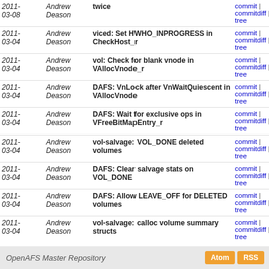| Date | Author | Message | Links |
| --- | --- | --- | --- |
| 2011-03-08 | Andrew Deason | twice | commit | commitdiff | tree |
| 2011-03-04 | Andrew Deason | viced: Set HWHO_INPROGRESS in CheckHost_r | commit | commitdiff | tree |
| 2011-03-04 | Andrew Deason | vol: Check for blank vnode in VAllocVnode_r | commit | commitdiff | tree |
| 2011-03-04 | Andrew Deason | DAFS: VnLock after VnWaitQuiescent in VAllocVnode | commit | commitdiff | tree |
| 2011-03-04 | Andrew Deason | DAFS: Wait for exclusive ops in VFreeBitMapEntry_r | commit | commitdiff | tree |
| 2011-03-04 | Andrew Deason | vol-salvage: VOL_DONE deleted volumes | commit | commitdiff | tree |
| 2011-03-04 | Andrew Deason | DAFS: Clear salvage stats on VOL_DONE | commit | commitdiff | tree |
| 2011-03-04 | Andrew Deason | DAFS: Allow LEAVE_OFF for DELETED volumes | commit | commitdiff | tree |
| 2011-03-04 | Andrew Deason | vol-salvage: calloc volume summary structs | commit | commitdiff | tree |
| 2011-03-04 | Andrew Deason | viced: Check vnode length on read and write
Tested-by: Andrew Deason <adeason@sinenomine.net> | commit | commitdiff | tree |
| 2011-03-03 | Andrew Deason | vol-salvage: Fix AskOnline error message | commit | commitdiff | tree |
next
OpenAFS Master Repository